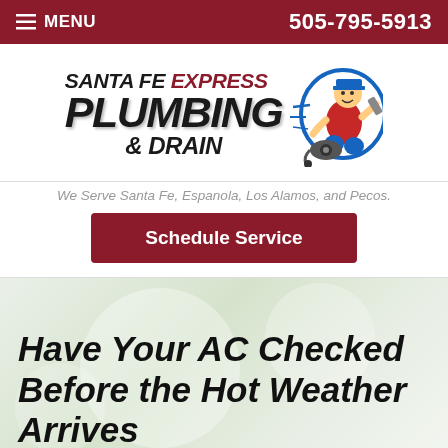MENU  505-795-5913
[Figure (logo): Santa Fe Express Plumbing & Drain logo with cartoon plumber mascot riding a drain snake]
We Serve Santa Fe, Espanola, Los Alamos, and Pecos.
Schedule Service
Have Your AC Checked Before the Hot Weather Arrives